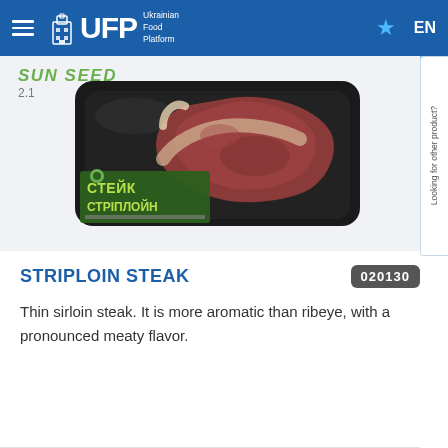UFP Ukrainian Food Platform EN
[Figure (photo): Packaged striploin steak in a black tray with SUN SEED branding and Cyrillic text reading СТЕЙК СТРІПЛОЙН]
STRIPLOIN STEAK
020130
Thin sirloin steak. It is more aromatic than ribeye, with a pronounced meaty flavor.